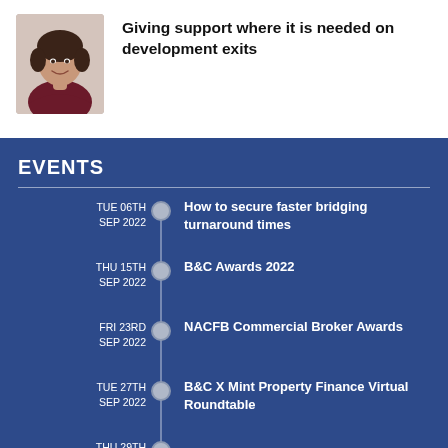[Figure (photo): Headshot of a woman with dark hair, wearing a dark red/burgundy top, smiling]
Giving support where it is needed on development exits
EVENTS
TUE 06TH SEP 2022 — How to secure faster bridging turnaround times
THU 15TH SEP 2022 — B&C Awards 2022
FRI 23RD SEP 2022 — NACFB Commercial Broker Awards
TUE 27TH SEP 2022 — B&C X Mint Property Finance Virtual Roundtable
THU 29TH